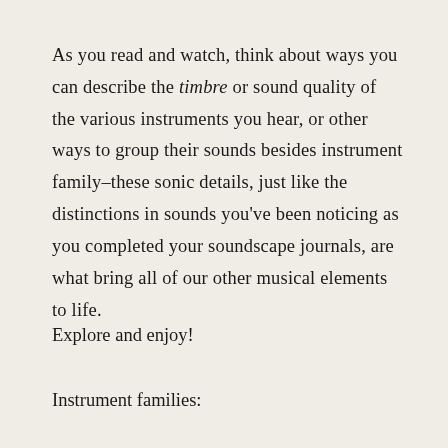As you read and watch, think about ways you can describe the timbre or sound quality of the various instruments you hear, or other ways to group their sounds besides instrument family–these sonic details, just like the distinctions in sounds you've been noticing as you completed your soundscape journals, are what bring all of our other musical elements to life.
Explore and enjoy!
Instrument families: